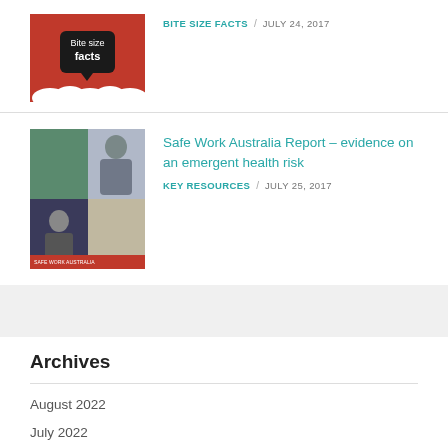[Figure (photo): Red card with black speech bubble saying 'Bite size facts']
BITE SIZE FACTS / JULY 24, 2017
[Figure (photo): Safe Work Australia report cover with multiple photos of workers]
Safe Work Australia Report – evidence on an emergent health risk
KEY RESOURCES / JULY 25, 2017
Archives
August 2022
July 2022
June 2022